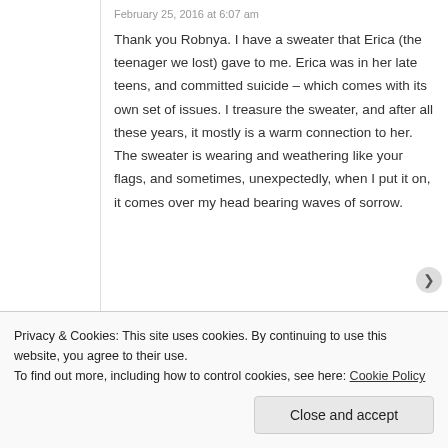February 25, 2016 at 6:07 am
Thank you Robnya. I have a sweater that Erica (the teenager we lost) gave to me. Erica was in her late teens, and committed suicide – which comes with its own set of issues. I treasure the sweater, and after all these years, it mostly is a warm connection to her. The sweater is wearing and weathering like your flags, and sometimes, unexpectedly, when I put it on, it comes over my head bearing waves of sorrow.
Privacy & Cookies: This site uses cookies. By continuing to use this website, you agree to their use.
To find out more, including how to control cookies, see here: Cookie Policy
Close and accept